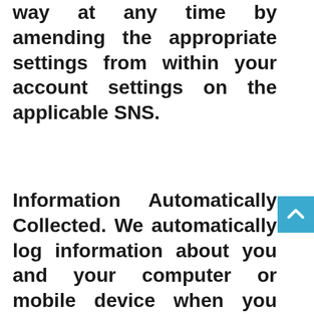way at any time by amending the appropriate settings from within your account settings on the applicable SNS.
Information Automatically Collected. We automatically log information about you and your computer or mobile device when you access our Site. For example, when visiting our Site, we log your computer or mobile device operating system name and version, manufacturer and model, browser type, browser language, screen resolution, the website you visited before browsing to our Site